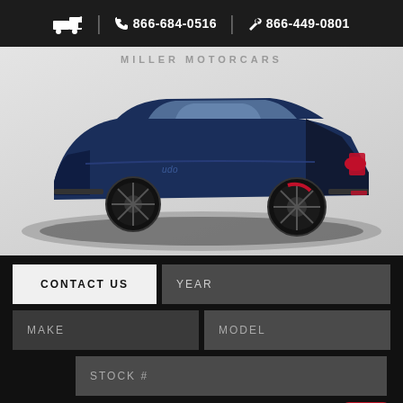866-684-0516  866-449-0801
[Figure (photo): Blue Maserati Levante SUV on a circular display platform in a showroom, photographed from the side/rear quarter angle. The vehicle is a dark navy blue with black multi-spoke wheels. 'MILLER MOTORCARS' text visible at top of image.]
MILLER MOTORCARS
CONTACT US
YEAR
MAKE
MODEL
STOCK #
FIND
CLEAR